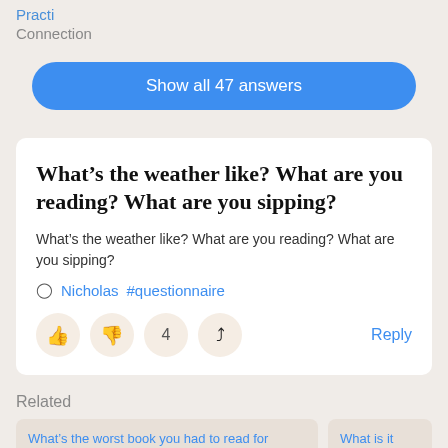Practi
Connection
Show all 47 answers
What’s the weather like? What are you reading? What are you sipping?
What’s the weather like? What are you reading? What are you sipping?
Nicholas  #questionnaire
Reply
Related
What’s the worst book you had to read for school?
What is it with...